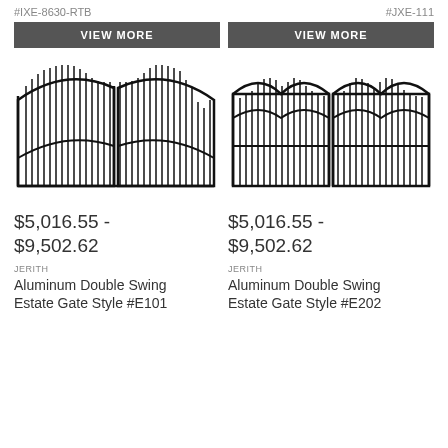#IXE-8630-RTB
#JXE-111
VIEW MORE
VIEW MORE
[Figure (illustration): Black line drawing of an aluminum double swing estate gate with arched top and vertical bars, two panels]
[Figure (illustration): Black line drawing of an aluminum double swing estate gate with wave/scallop top and vertical bars, two panels]
$5,016.55 - $9,502.62
$5,016.55 - $9,502.62
JERITH
Aluminum Double Swing Estate Gate Style #E101
JERITH
Aluminum Double Swing Estate Gate Style #E202